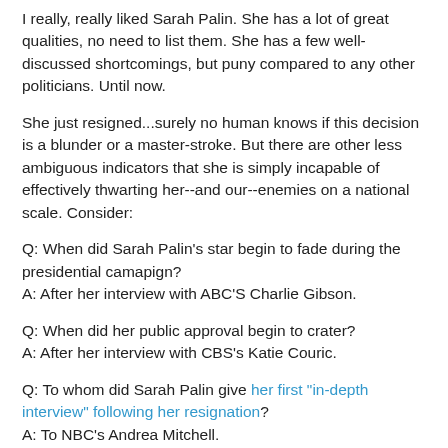I really, really liked Sarah Palin. She has a lot of great qualities, no need to list them. She has a few well-discussed shortcomings, but puny compared to any other politicians. Until now.
She just resigned...surely no human knows if this decision is a blunder or a master-stroke. But there are other less ambiguous indicators that she is simply incapable of effectively thwarting her--and our--enemies on a national scale. Consider:
Q: When did Sarah Palin's star begin to fade during the presidential camapign?
A: After her interview with ABC'S Charlie Gibson.
Q: When did her public approval begin to crater?
A: After her interview with CBS's Katie Couric.
Q: To whom did Sarah Palin give her first "in-depth interview" following her resignation?
A: To NBC's Andrea Mitchell.
NBC's Andrea Mitchell...